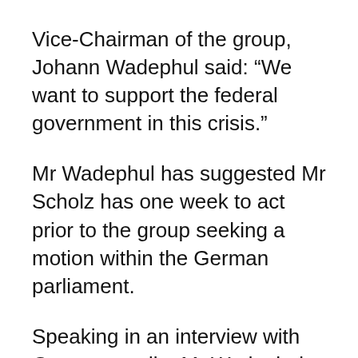Vice-Chairman of the group, Johann Wadephul said: “We want to support the federal government in this crisis.”
Mr Wadephul has suggested Mr Scholz has one week to act prior to the group seeking a motion within the German parliament.
Speaking in an interview with German media, Mr Wadephul accused the German government of deceiving the public by promising further financial military aid.
He said: “Ukraine has not lacked money – also not due to the EU funds.